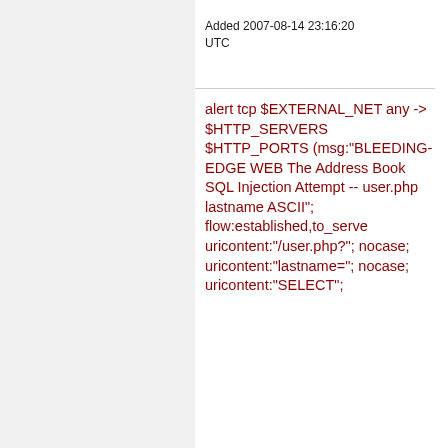Added 2007-08-14 23:16:20 UTC
alert tcp $EXTERNAL_NET any -> $HTTP_SERVERS $HTTP_PORTS (msg:"BLEEDING-EDGE WEB The Address Book SQL Injection Attempt -- user.php lastname ASCII"; flow:established,to_server; uricontent:"/user.php?"; nocase; uricontent:"lastname="; nocase; uricontent:"SELECT";